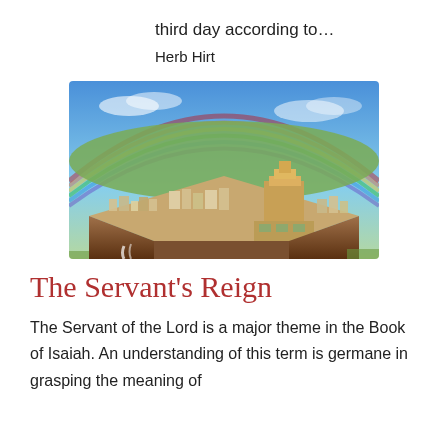third day according to…
Herb Hirt
[Figure (illustration): Aerial artistic illustration of an ancient city on a plateau, with a rainbow arching across a blue sky above it. The city features dense buildings, a large temple complex at the right, and water cascading off the rocky cliffs below. Green fields surround the plateau.]
The Servant's Reign
The Servant of the Lord is a major theme in the Book of Isaiah. An understanding of this term is germane in grasping the meaning of Sev...